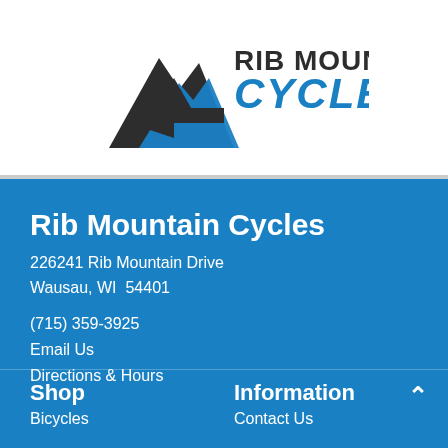[Figure (logo): Rib Mountain Cycles logo with mountain/arrow graphic in dark grey/black and blue text reading 'RIB MOUNTAIN CYCLES']
Rib Mountain Cycles
226241 Rib Mountain Drive
Wausau, WI  54401
(715) 359-3925
Email Us
Directions & Hours
Shop
Bicycles
Information
Contact Us